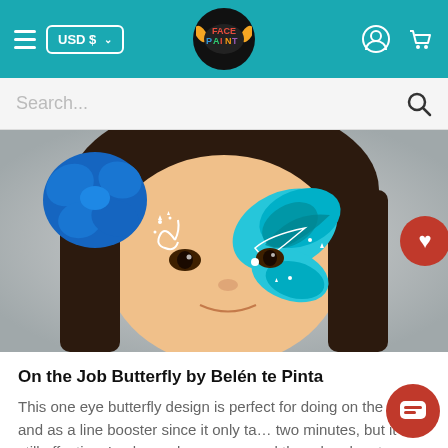USD $ — Face Paint logo — user icon — cart icon
[Figure (screenshot): Search bar with placeholder text 'Search...' and a magnifying glass icon on the right]
[Figure (photo): Close-up photo of a young girl with a blue flower in her hair and butterfly face paint in teal/blue on one side of her face with white sparkle details. A red heart (favorite) button overlays the right edge of the image.]
On the Job Butterfly by Belén te Pinta
This one eye butterfly design is perfect for doing on the job and as a line booster since it only ta… two minutes, but it is still effective. I only used… sponge and three brushes to make it as simple as